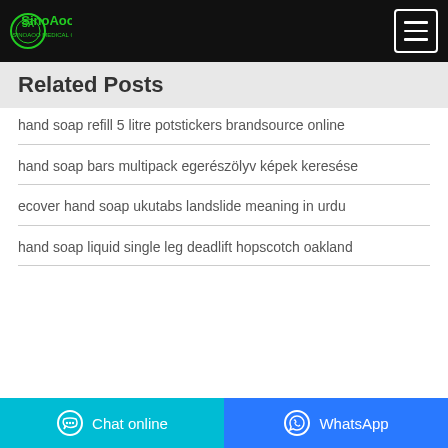SinoAoo Medical Corp
Related Posts
hand soap refill 5 litre potstickers brandsource online
hand soap bars multipack egerészölyv képek keresése
ecover hand soap ukutabs landslide meaning in urdu
hand soap liquid single leg deadlift hopscotch oakland
Chat online | WhatsApp